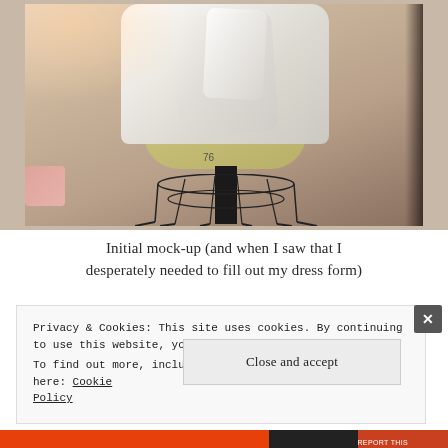[Figure (photo): A white fabric mock-up draped on a yellow-green dress form mannequin mounted on a black metal wire stand, photographed indoors against a beige/pink wall.]
Initial mock-up (and when I saw that I desperately needed to fill out my dress form)
Privacy & Cookies: This site uses cookies. By continuing to use this website, you agree to their use.
To find out more, including how to control cookies, see here: Cookie Policy
Close and accept